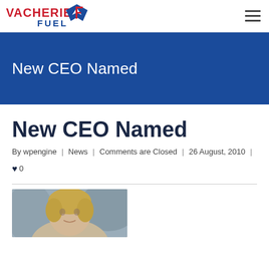Vacherie Fuel — navigation header with logo and hamburger menu
New CEO Named
New CEO Named
By wpengine  |  News  |  Comments are Closed  |  26 August, 2010  |  ♥ 0
[Figure (photo): Headshot photo of a person with blonde hair, shown from shoulders up, against a blurred background.]